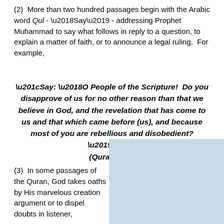(2)  More than two hundred passages begin with the Arabic word Qul - 'Say' - addressing Prophet Muhammad to say what follows in reply to a question, to explain a matter of faith, or to announce a legal ruling.  For example,
“Say: ‘O People of the Scripture!  Do you disapprove of us for no other reason than that we believe in God, and the revelation that has come to us and that which came before (us), and because most of you are rebellious and disobedient?’” (Quran 5:59)
(3)  In some passages of the Quran, God takes oaths by His marvelous creation argument or to dispel doubts in listener,